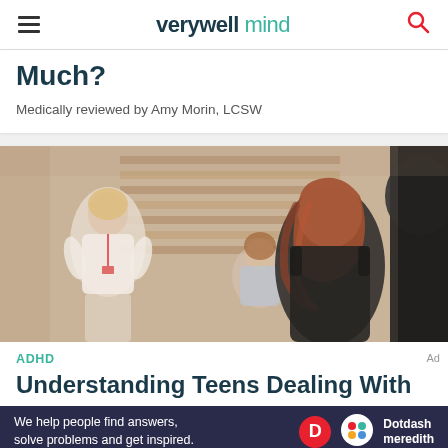verywell mind
Much?
Medically reviewed by Amy Morin, LCSW
[Figure (photo): Students or young women in a classroom/gym setting, focused on their work; a teacher figure stands in the background wearing a lanyard.]
ADHD
Understanding Teens Dealing With
Ad
We help people find answers, solve problems and get inspired. Dotdash meredith